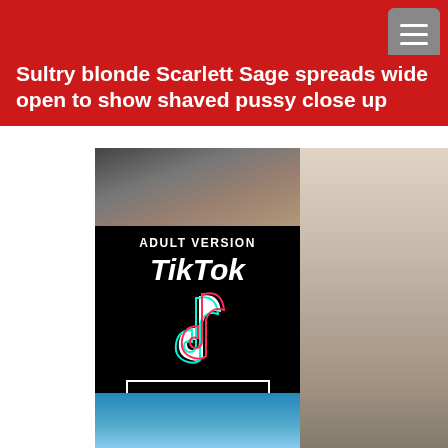Sultry blonde Scarlett Sage spreads wide open to show shaved pussy close up
[Figure (other): Advertisement banner with adult TikTok theme: top portion shows partial photo, middle is black background with 'ADULT VERSION', 'TikTok' text, TikTok logo, and 'TAP HERE' button]
Ads by JuicyAds
[Figure (photo): Right side partial photo showing interior scene, with label 'SCARLETT SAGE E' at bottom]
[Figure (other): Partial bottom image with blue tones]